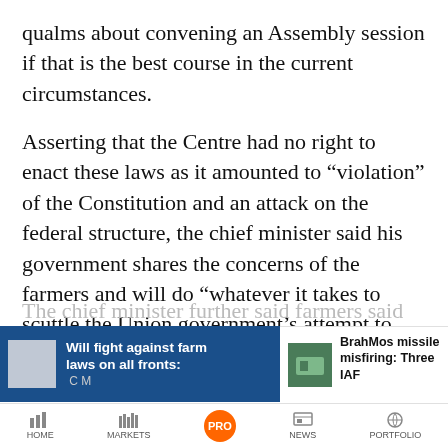qualms about convening an Assembly session if that is the best course in the current circumstances.
Asserting that the Centre had no right to enact these laws as it amounted to "violation" of the Constitution and an attack on the federal structure, the chief minister said his government shares the concerns of the farmers and will do "whatever it takes to scuttle the Union government's attempt to ruin the farming community with these draconian legislations".
[Figure (screenshot): Mobile app bottom overlay with two news story banners: left banner (dark blue) 'Will fight against farm laws on all fronts: [name truncated]', right banner 'BrahMos missile misfiring: Three IAF [officers truncated]', and a navigation bar with HOME, MARKETS, PRO, NEWS, PORTFOLIO tabs.]